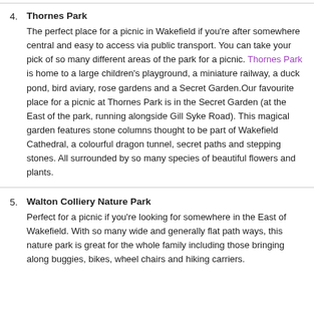4. Thornes Park — The perfect place for a picnic in Wakefield if you're after somewhere central and easy to access via public transport. You can take your pick of so many different areas of the park for a picnic. Thornes Park is home to a large children's playground, a miniature railway, a duck pond, bird aviary, rose gardens and a Secret Garden.Our favourite place for a picnic at Thornes Park is in the Secret Garden (at the East of the park, running alongside Gill Syke Road). This magical garden features stone columns thought to be part of Wakefield Cathedral, a colourful dragon tunnel, secret paths and stepping stones. All surrounded by so many species of beautiful flowers and plants.
5. Walton Colliery Nature Park — Perfect for a picnic if you're looking for somewhere in the East of Wakefield. With so many wide and generally flat path ways, this nature park is great for the whole family including those bringing along buggies, bikes, wheel chairs and hiking carriers.